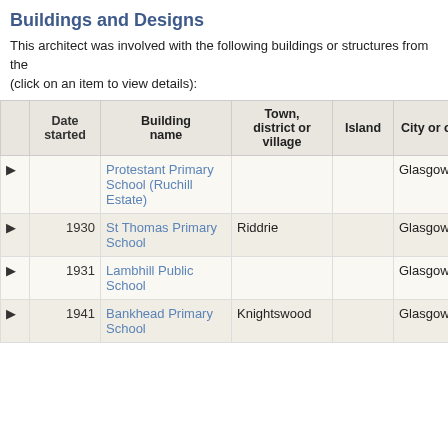Buildings and Designs
This architect was involved with the following buildings or structures from the (click on an item to view details):
|  | Date started | Building name | Town, district or village | Island | City or county | Country |
| --- | --- | --- | --- | --- | --- | --- |
| ▶ |  | Protestant Primary School (Ruchill Estate) |  |  | Glasgow |  |
| ▶ | 1930 | St Thomas Primary School | Riddrie |  | Glasgow | Scotland |
| ▶ | 1931 | Lambhill Public School |  |  | Glasgow | Scotland |
| ▶ | 1941 | Bankhead Primary School | Knightswood |  | Glasgow | Scotland |